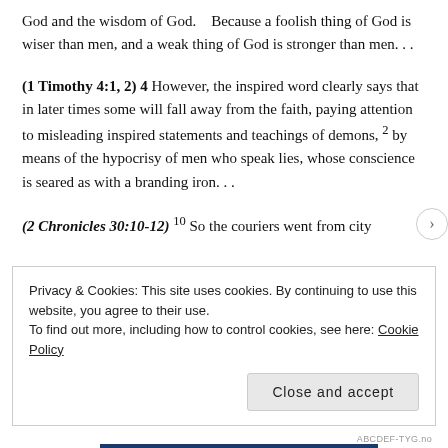God and the wisdom of God.   Because a foolish thing of God is wiser than men, and a weak thing of God is stronger than men. . .
(1 Timothy 4:1, 2) 4 However, the inspired word clearly says that in later times some will fall away from the faith, paying attention to misleading inspired statements and teachings of demons, 2 by means of the hypocrisy of men who speak lies, whose conscience is seared as with a branding iron. . .
(2 Chronicles 30:10-12) 10 So the couriers went from city
Privacy & Cookies: This site uses cookies. By continuing to use this website, you agree to their use.
To find out more, including how to control cookies, see here: Cookie Policy
Close and accept